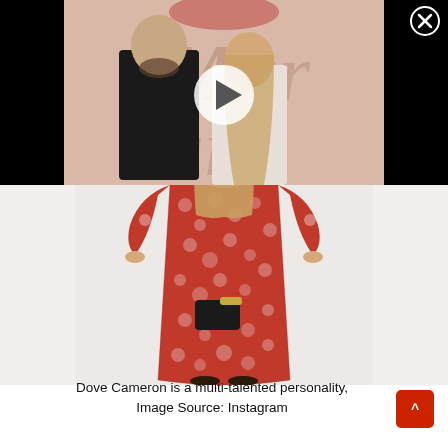[Figure (screenshot): Video thumbnail showing a man in a black suit and a woman with long hair posing together in front of a backdrop with stylized text. A white play button triangle is overlaid in the center. The image has a black background on the sides.]
[Figure (photo): Full-length photo of Dove Cameron wearing a red and white floral/rose-print long dress or jumpsuit, holding a black and gold clutch bag, standing against a white background.]
Dove Cameron is a multi-talented personality.
Image Source: Instagram